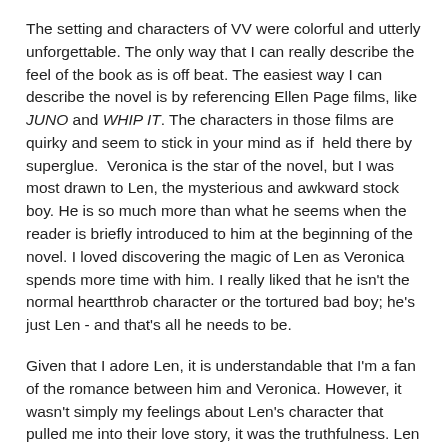The setting and characters of VV were colorful and utterly unforgettable. The only way that I can really describe the feel of the book as is off beat. The easiest way I can describe the novel is by referencing Ellen Page films, like JUNO and WHIP IT. The characters in those films are quirky and seem to stick in your mind as if  held there by superglue.  Veronica is the star of the novel, but I was most drawn to Len, the mysterious and awkward stock boy. He is so much more than what he seems when the reader is briefly introduced to him at the beginning of the novel. I loved discovering the magic of Len as Veronica spends more time with him. I really liked that he isn't the normal heartthrob character or the tortured bad boy; he's just Len - and that's all he needs to be.
Given that I adore Len, it is understandable that I'm a fan of the romance between him and Veronica. However, it wasn't simply my feelings about Len's character that pulled me into their love story, it was the truthfulness. Len and Veronica's relationship is not perfect, but it is awkward, painful, and so, so tender. There are some romances that take you by storm and you are so totally enraptured in one another that there